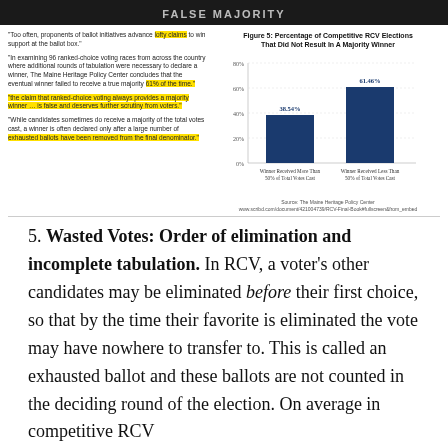FALSE MAJORITY
"Too often, proponents of ballot initiatives advance lofty claims to win support at the ballot box."
"In examining 96 ranked-choice voting races from across the country where additional rounds of tabulation were necessary to declare a winner, The Maine Heritage Policy Center concludes that the eventual winner failed to receive a true majority 61% of the time."
"the claim that ranked-choice voting always provides a majority winner ... is false and deserves further scrutiny from voters."
"While candidates sometimes do receive a majority of the total votes cast, a winner is often declared only after a large number of exhausted ballots have been removed from the final denominator."
Figure 5: Percentage of Competitive RCV Elections That Did Not Result In A Majority Winner
[Figure (bar-chart): Figure 5: Percentage of Competitive RCV Elections That Did Not Result In A Majority Winner]
Source: The Maine Heritage Policy Center
www.scribd.com/document/421004739/RCV-Final-Book/at#fullscreen&from_embed
5. Wasted Votes: Order of elimination and incomplete tabulation. In RCV, a voter's other candidates may be eliminated before their first choice, so that by the time their favorite is eliminated the vote may have nowhere to transfer to. This is called an exhausted ballot and these ballots are not counted in the deciding round of the election. On average in competitive RCV